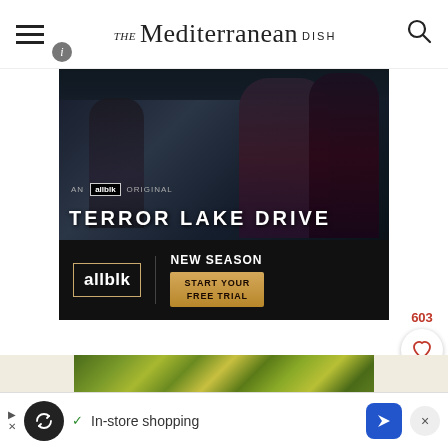THE Mediterranean DISH
[Figure (screenshot): Advertisement for allblk streaming service showing Terror Lake Drive TV show with two women against a dark background. Bottom portion shows allblk logo, NEW SEASON text, and START YOUR FREE TRIAL button.]
[Figure (photo): Food photo showing Mediterranean dish with vegetables, greens, and cheese on a plate]
[Figure (screenshot): Bottom advertisement bar showing an infinity-loop icon, checkmark with 'In-store shopping' text, navigation arrow icon, and close button]